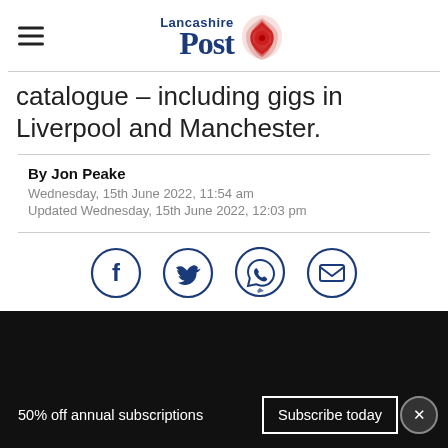Lancashire Post
catalogue – including gigs in Liverpool and Manchester.
By Jon Peake
Wednesday, 15th June 2022, 11:54 am
Updated Wednesday, 15th June 2022, 12:03 pm
[Figure (infographic): Social share icons: Facebook, Twitter, WhatsApp, Email]
[Figure (photo): Black image/video area]
50% off annual subscriptions  Subscribe today